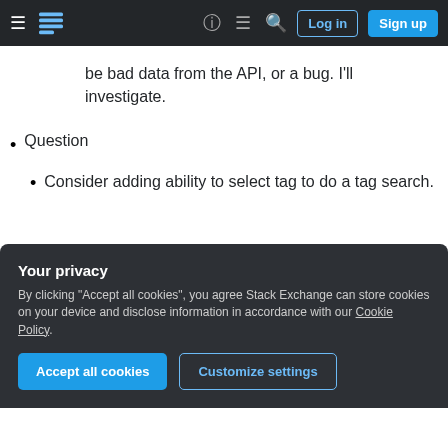Stack Exchange navigation bar with login and sign up buttons
be bad data from the API, or a bug. I'll investigate.
Question
Consider adding ability to select tag to do a tag search.
adamw : Coming in version 1.1 :)
Posts
Their questions/answers: Consider adding ability to sort like the web ui: recent, views,
Your privacy
By clicking "Accept all cookies", you agree Stack Exchange can store cookies on your device and disclose information in accordance with our Cookie Policy.
Accept all cookies   Customize settings
looking at